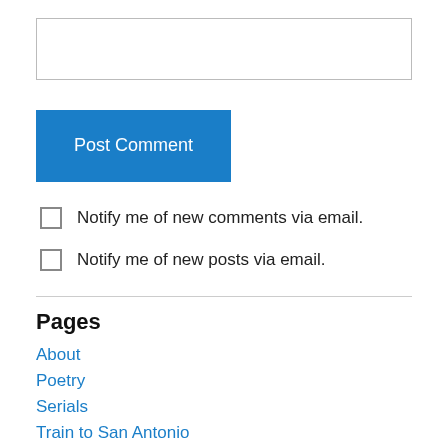[Figure (other): Empty text input box (comment field)]
[Figure (other): Post Comment button (blue)]
Notify me of new comments via email.
Notify me of new posts via email.
Pages
About
Poetry
Serials
Train to San Antonio
Archives